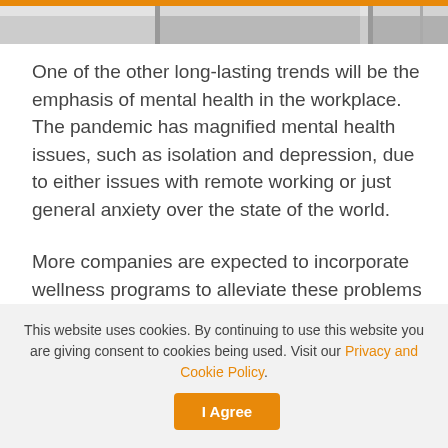[Figure (photo): Partial image strip showing a faded/greyed photograph at the top of the page]
One of the other long-lasting trends will be the emphasis of mental health in the workplace. The pandemic has magnified mental health issues, such as isolation and depression, due to either issues with remote working or just general anxiety over the state of the world.
More companies are expected to incorporate wellness programs to alleviate these problems and keep employees satisfied. Doing so can help with productivity issues, as well as improve the company's overall culture.
Tags: daily_digest
This website uses cookies. By continuing to use this website you are giving consent to cookies being used. Visit our Privacy and Cookie Policy.